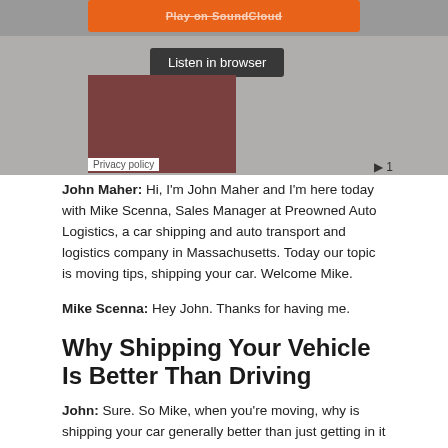[Figure (screenshot): SoundCloud embedded player widget showing orange Play on SoundCloud button, Listen in browser button, album art thumbnail, and playback controls with Privacy policy label and track number 1.]
John Maher: Hi, I'm John Maher and I'm here today with Mike Scenna, Sales Manager at Preowned Auto Logistics, a car shipping and auto transport and logistics company in Massachusetts. Today our topic is moving tips, shipping your car. Welcome Mike.
Mike Scenna: Hey John. Thanks for having me.
Why Shipping Your Vehicle Is Better Than Driving
John: Sure. So Mike, when you're moving, why is shipping your car generally better than just getting in it and driving your car to your destination?